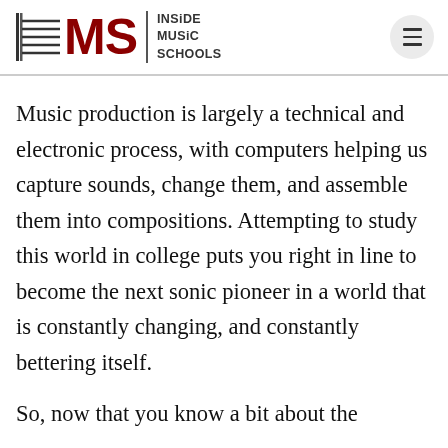[Figure (logo): Inside Music Schools (IMS) logo with musical staff lines and dark red IMS letters, vertical divider, and 'INSIDE MUSIC SCHOOLS' text]
Music production is largely a technical and electronic process, with computers helping us capture sounds, change them, and assemble them into compositions. Attempting to study this world in college puts you right in line to become the next sonic pioneer in a world that is constantly changing, and constantly bettering itself.
So, now that you know a bit about the